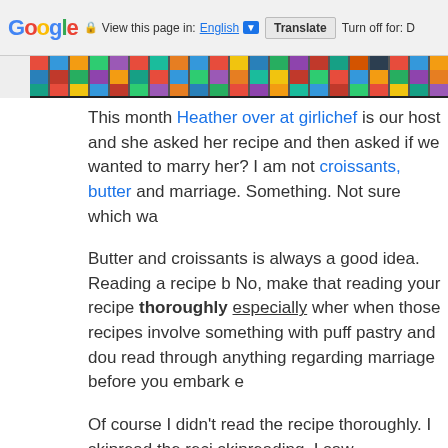Google | View this page in: English ▼ | Translate | Turn off for: D
[Figure (photo): Colorful pixel/mosaic banner strip image]
This month Heather over at girlichef is our host and she asked her recipe and then asked if we wanted to marry her? I am not croissants, butter and marriage. Something. Not sure which wa
Butter and croissants is always a good idea. Reading a recipe b No, make that reading your recipe thoroughly especially wher when those recipes involve something with puff pastry and dou read through anything regarding marriage before you embark e
Of course I didn't read the recipe thoroughly. I skipread the reci skipreading. I saw croissants… pretzels… yadayadaa…. –mum month- latidaaah sesame seeds, glaze…oh baked baking soda of time left to bake…wheewheewhee … birthdays, last tests fo manage but not on tuesday.
And then I heard my fellow Babes over the three day approach in the freezer to divide the hands on time…
My brain went in overdrive. (To be honest? It went fuzzy first.. t